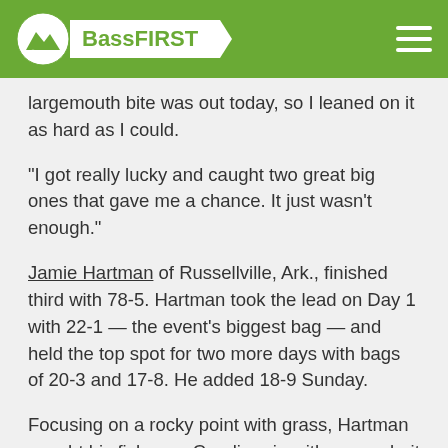BassFIRST
largemouth bite was out today, so I leaned on it as hard as I could.
"I got really lucky and caught two great big ones that gave me a chance. It just wasn't enough."
Jamie Hartman of Russellville, Ark., finished third with 78-5. Hartman took the lead on Day 1 with 22-1 — the event's biggest bag — and held the top spot for two more days with bags of 20-3 and 17-8. He added 18-9 Sunday.
Focusing on a rocky point with grass, Hartman caught his fish on a Carolina rig with a craw bait and a 3/8-